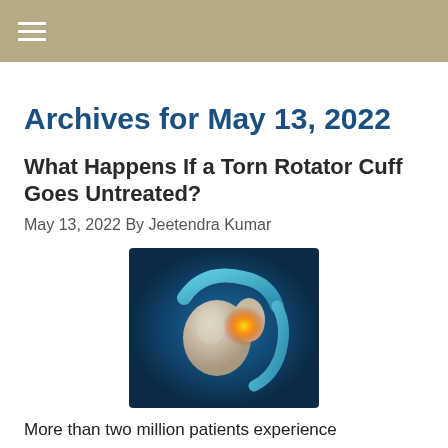≡
Archives for May 13, 2022
What Happens If a Torn Rotator Cuff Goes Untreated?
May 13, 2022 By Jeetendra Kumar
[Figure (photo): Medical illustration of a shoulder joint with rotator cuff highlighted in glowing orange/yellow, showing anatomical bones and tendons against a blue background.]
More than two million patients experience